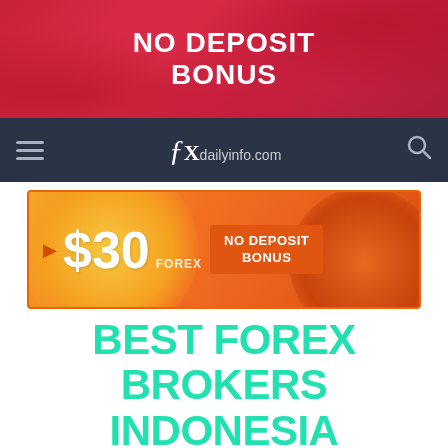[Figure (other): Red banner advertisement with text NO DEPOSIT BONUS in white bold uppercase letters on a red/crimson gradient background with abstract shapes]
[Figure (logo): Navigation bar with hamburger menu icon on left, fxdailyinfo.com logo in center (italic cursive f followed by bold X and domain text), and search icon on right, all on dark navy background]
[Figure (other): Orange gradient banner advertisement showing $30 FOREX NO DEPOSIT BONUS with circular orange/yellow shapes and play button icon]
BEST FOREX BROKERS INDONESIA AND INDONESIA BROKERS
HOME / BEST FOREX BROKERS INDONESIA
We hope you found this list of the best Forex brokers in